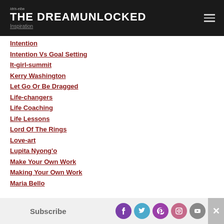THE DREAMUNLOCKED - Inspiration
Intention
Intention Vs Goal Setting
It-girl-summit
Kerry Washington
Let Go Or Be Dragged
Life-changers
Life Coaching
Life Lessons
Lord Of The Rings
Love-art
Lupita Nyong'o
Make Your Own Work
Making Your Own Work
Maria Bello
Subscribe